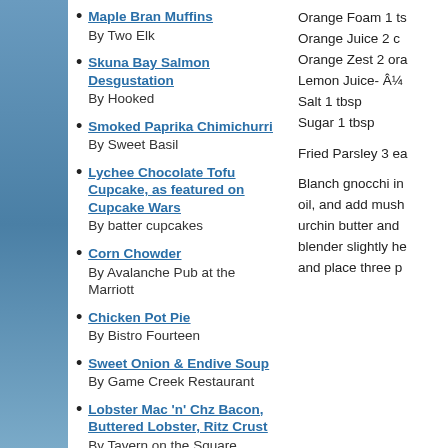Maple Bran Muffins
By Two Elk
Skuna Bay Salmon Desgustation
By Hooked
Smoked Paprika Chimichurri
By Sweet Basil
Lychee Chocolate Tofu Cupcake, as featured on Cupcake Wars
By batter cupcakes
Corn Chowder
By Avalanche Pub at the Marriott
Chicken Pot Pie
By Bistro Fourteen
Sweet Onion & Endive Soup
By Game Creek Restaurant
Lobster Mac 'n' Chz Bacon, Buttered Lobster, Ritz Crust
By Tavern on the Square located at The Arrabelle
Molasses Quail, Blackberry Agrodolce,
Orange Foam 1 ts
Orange Juice 2 c
Orange Zest 2 ora
Lemon Juice- Â¼
Salt 1 tbsp
Sugar 1 tbsp

Fried Parsley 3 ea

Blanch gnocchi in oil, and add mush urchin butter and blender slightly he and place three p